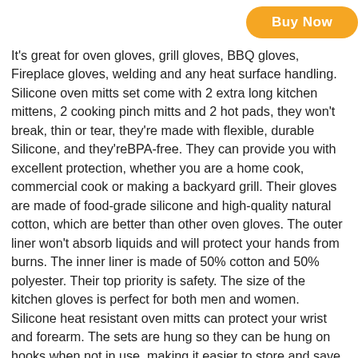[Figure (other): Orange 'Buy Now' button]
It's great for oven gloves, grill gloves, BBQ gloves, Fireplace gloves, welding and any heat surface handling. Silicone oven mitts set come with 2 extra long kitchen mittens, 2 cooking pinch mitts and 2 hot pads, they won't break, thin or tear, they're made with flexible, durable Silicone, and they'reBPA-free. They can provide you with excellent protection, whether you are a home cook, commercial cook or making a backyard grill. Their gloves are made of food-grade silicone and high-quality natural cotton, which are better than other oven gloves. The outer liner won't absorb liquids and will protect your hands from burns. The inner liner is made of 50% cotton and 50% polyester. Their top priority is safety. The size of the kitchen gloves is perfect for both men and women. Silicone heat resistant oven mitts can protect your wrist and forearm. The sets are hung so they can be hung on hooks when not in use, making it easier to store and save space in the kitchen. The honeycomb texture surface of the oven mitts and pot holders sets makes them strong. It's suitable for holding hot pans, plates, air fryers, and utensils. Their mats are used as a jar opener, hot pot